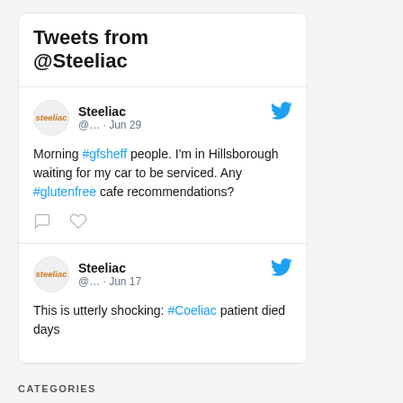Tweets from @Steeliac
Steeliac @… · Jun 29
Morning #gfsheff people. I'm in Hillsborough waiting for my car to be serviced. Any #glutenfree cafe recommendations?
Steeliac @… · Jun 17
This is utterly shocking: #Coeliac patient died days
CATEGORIES